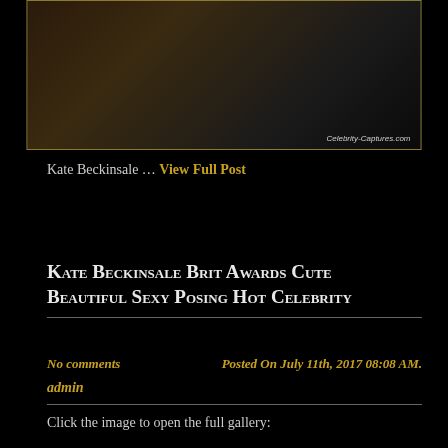[Figure (photo): A painting scene showing a figure being painted in an ornate interior setting. Watermark reads Celebrity-Captures.com]
Kate Beckinsale … View Full Post
Kate Beckinsale Brit Awards Cute Beautiful Sexy Posing Hot Celebrity
No comments    Posted On July 11th, 2017 08:08 AM.
admin
Click the image to open the full gallery: